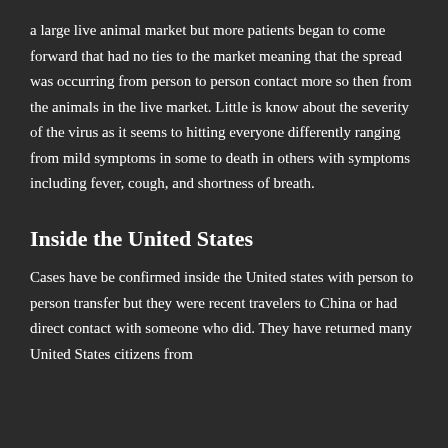a large live animal market but more patients began to come forward that had no ties to the market meaning that the spread was occurring from person to person contact more so then from the animals in the live market. Little is know about the severity of the virus as it seems to hitting everyone differently ranging from mild symptoms in some to death in others with symptoms including fever, cough, and shortness of breath.
Inside the United States
Cases have be confirmed inside the United states with person to person transfer but they were recent travelers to China or had direct contact with someone who did. They have returned many United States citizens from